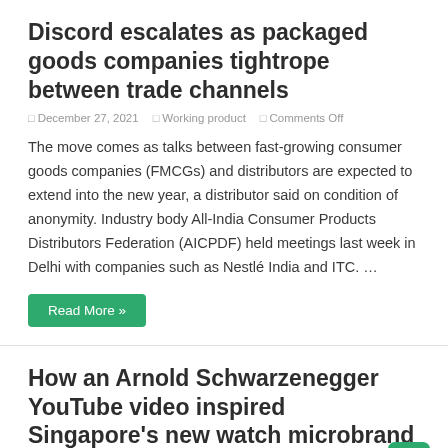Discord escalates as packaged goods companies tightrope between trade channels
December 27, 2021   Working product   Comments Off
The move comes as talks between fast-growing consumer goods companies (FMCGs) and distributors are expected to extend into the new year, a distributor said on condition of anonymity. Industry body All-India Consumer Products Distributors Federation (AICPDF) held meetings last week in Delhi with companies such as Nestlé India and ITC. …
Read More »
How an Arnold Schwarzenegger YouTube video inspired Singapore's new watch microbrand
December 25, 2021   Working product   Comments Off